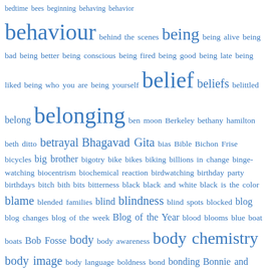bedtime bees beginning behaving behavior behaviour behind the scenes being being alive being bad being better being conscious being fired being good being late being liked being who you are being yourself belief beliefs belittled belong belonging ben moon Berkeley bethany hamilton beth ditto betrayal Bhagavad Gita bias Bible Bichon Frise bicycles big brother bigotry bike bikes biking billions in change binge-watching biocentrism biochemical reaction birdwatching birthday party birthdays bitch bith bits bitterness black black and white black is the color blame blended families blind blindness blind spots blocked blog blog changes blog of the week Blog of the Year blood blooms blue boat boats Bob Fosse body body awareness body chemistry body image body language boldness bond bonding Bonnie and Clyde books boomers borderline personality disorder borders boredom borg boring boss bosses boundaries bow and arrow bowl boyfriend boyfriends boys brain brain chemistry braincraft brain doctor brain fog brain injuries brains brain surgery brain washing brain waves